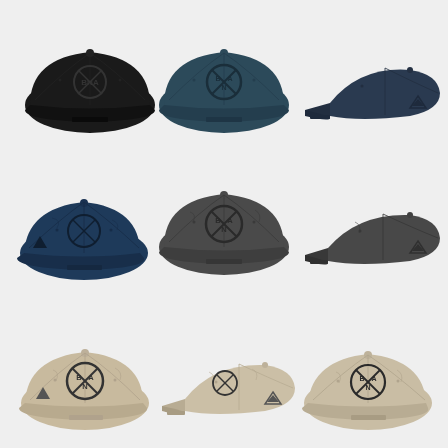[Figure (photo): Product photo grid showing 9 baseball caps (dad hats) with embroidered circular 'BNA' airport code logo. Three rows of three caps each. Top row: black cap (front view), dark teal/navy cap (front view with BNA logo visible), dark navy cap (side view). Middle row: navy blue cap (front view), dark gray/charcoal cap (front view with BNA logo visible), dark gray cap (side view). Bottom row: beige/khaki cap (front view with BNA logo visible), beige cap (side/angled view), beige cap (front/angled view). Background is light gray.]